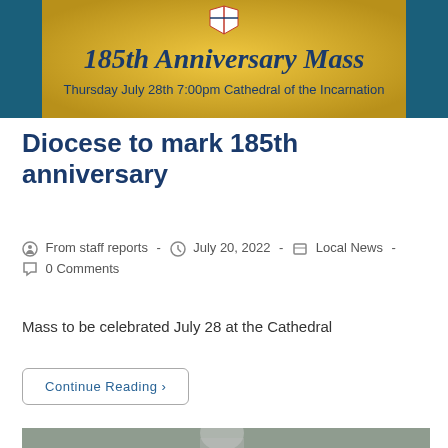[Figure (illustration): Banner image for 185th Anniversary Mass. Gold/yellow background with teal/dark blue border sides. Text reads '185th Anniversary Mass' in dark serif script and 'Thursday July 28th 7:00pm Cathedral of the Incarnation' below. A small shield/crest logo at the top.]
Diocese to mark 185th anniversary
From staff reports - July 20, 2022 - Local News - 0 Comments
Mass to be celebrated July 28 at the Cathedral
Continue Reading ›
[Figure (photo): Black and white photo partially visible at the bottom of the page, appears to show people outdoors.]